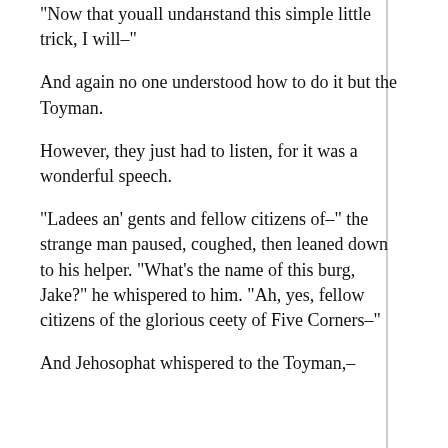“Now that youall undaнstand this simple little trick, I will–”
And again no one understood how to do it but the Toyman.
However, they just had to listen, for it was a wonderful speech.
“Ladees an’ gents and fellow citizens of–” the strange man paused, coughed, then leaned down to his helper. “What’s the name of this burg, Jake?” he whispered to him. “Ah, yes, fellow citizens of the glorious ceety of Five Corners–”
And Jehosophat whispered to the Toyman,–